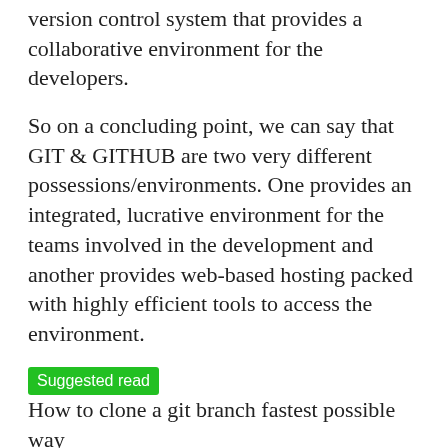version control system that provides a collaborative environment for the developers.
So on a concluding point, we can say that GIT & GITHUB are two very different possessions/environments. One provides an integrated, lucrative environment for the teams involved in the development and another provides web-based hosting packed with highly efficient tools to access the environment.
Suggested read  How to clone a git branch fastest possible way
Conclusion on Git installation on windows
So far we have discussed everything related to the concepts of GIT for the introduction of